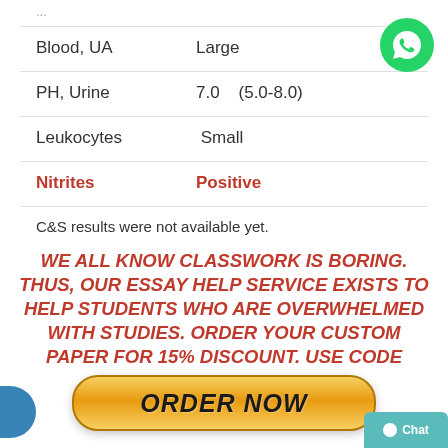Blood, UA — Large
PH, Urine — 7.0 (5.0-8.0)
Leukocytes — Small
Nitrites — Positive
C&S results were not available yet.
WE ALL KNOW CLASSWORK IS BORING. THUS, OUR ESSAY HELP SERVICE EXISTS TO HELP STUDENTS WHO ARE OVERWHELMED WITH STUDIES. ORDER YOUR CUSTOM PAPER FOR 15% DISCOUNT. USE CODE SAVE15
[Figure (logo): WhatsApp green circle icon with phone handset]
[Figure (other): ORDER NOW button in golden/orange rounded rectangle style with blue arc on left and Chat button on right]